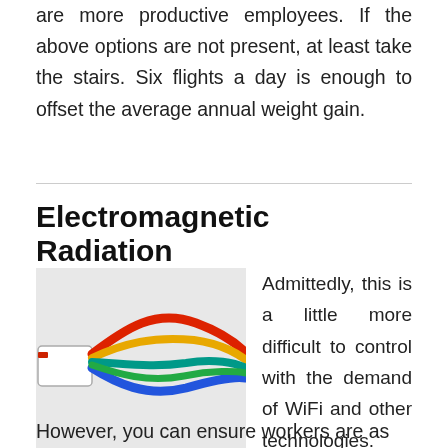are more productive employees. If the above options are not present, at least take the stairs. Six flights a day is enough to offset the average annual weight gain.
Electromagnetic Radiation
[Figure (photo): Photo of colorful network/ethernet cables plugged into a device, showing red, green, blue, yellow, and teal cables against a light background.]
Admittedly, this is a little more difficult to control with the demand of WiFi and other technologies.
However, you can ensure workers are as